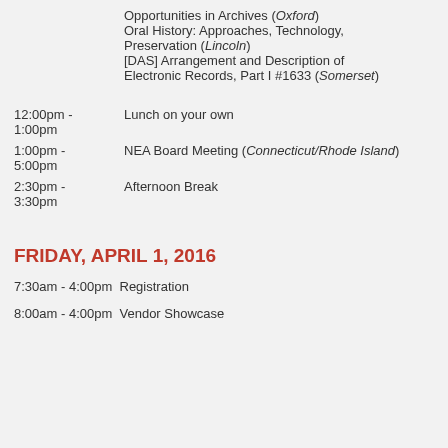Opportunities in Archives (Oxford)
Oral History: Approaches, Technology, Preservation (Lincoln)
[DAS] Arrangement and Description of Electronic Records, Part I #1633 (Somerset)
12:00pm - 1:00pm  Lunch on your own
1:00pm - 5:00pm  NEA Board Meeting (Connecticut/Rhode Island)
2:30pm - 3:30pm  Afternoon Break
FRIDAY, APRIL 1, 2016
7:30am - 4:00pm Registration
8:00am - 4:00pm Vendor Showcase